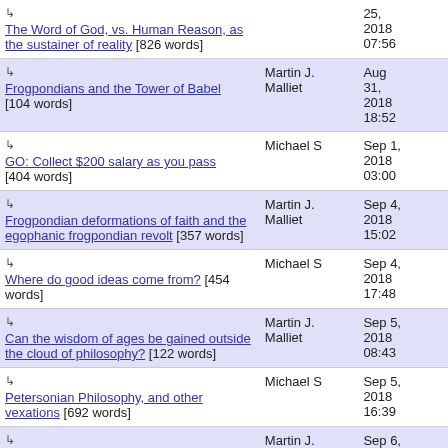| Title | Author | Date |
| --- | --- | --- |
| ↳ The Word of God, vs. Human Reason, as the sustainer of reality [826 words] |  | 25, 2018 07:56 |
| ↳ Frogpondians and the Tower of Babel [104 words] | Martin J. Malliet | Aug 31, 2018 18:52 |
| ↳ GO: Collect $200 salary as you pass [404 words] | Michael S | Sep 1, 2018 03:00 |
| ↳ Frogpondian deformations of faith and the egophanic frogpondian revolt [357 words] | Martin J. Malliet | Sep 4, 2018 15:02 |
| ↳ Where do good ideas come from? [454 words] | Michael S | Sep 4, 2018 17:48 |
| ↳ Can the wisdom of ages be gained outside the cloud of philosophy? [122 words] | Martin J. Malliet | Sep 5, 2018 08:43 |
| ↳ Petersonian Philosophy, and other vexations [692 words] | Michael S | Sep 5, 2018 16:39 |
| ↳ Jordan B. Peterson, philosophy, and the Cloud of Unknowing [213 words] | Martin J. Malliet | Sep 6, 2018 05:00 |